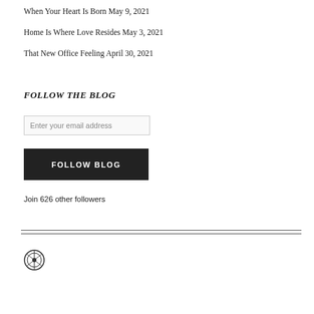When Your Heart Is Born May 9, 2021
Home Is Where Love Resides May 3, 2021
That New Office Feeling April 30, 2021
FOLLOW THE BLOG
Enter your email address
FOLLOW BLOG
Join 626 other followers
[Figure (logo): WordPress logo circle icon]